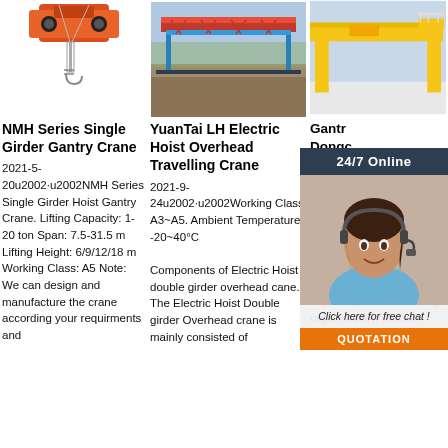[Figure (photo): NMH Series Single Girder Gantry Crane product photo showing orange electric hoist]
[Figure (photo): YuanTai LH Electric Hoist Overhead Travelling Crane photo, red/blue crane outdoors]
[Figure (photo): Gantry crane product photo, yellow crane structure]
NMH Series Single Girder Gantry Crane
2021-5-20u2002·u2002NMH Series Single Girder Hoist Gantry Crane. Lifting Capacity: 1-20 ton Span: 7.5-31.5 m Lifting Height: 6/9/12/18 m Working Class: A5 Note: We can design and manufacture the crane according your requirments and
YuanTai LH Electric Hoist Overhead Travelling Crane
2021-9-24u2002·u2002Working Class A3~A5. Ambient Temperature -20~40°C Components of Electric Hoist double girder overhead cane. The Electric Hoist Double girder Overhead crane is mainly consisted of
Gantry Dongc And C
The hois crane w gantry h applied warehouse of railway sideways to do common lifting and unloading works. This hoist gantry crane is composed of bridge, suppor s, crane travelling organ, trolley, electric
[Figure (photo): 24/7 Online customer service representative with headset]
24/7 Online
Click here for free chat !
QUOTATION